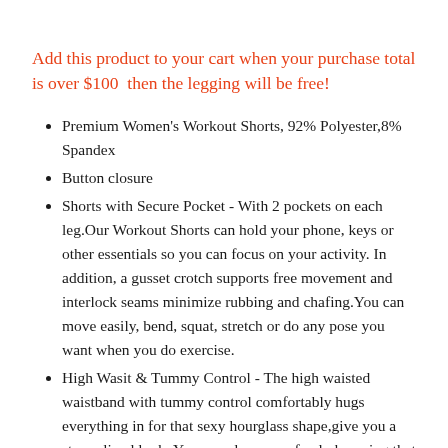Add this product to your cart when your purchase total is over $100  then the legging will be free!
Premium Women's Workout Shorts, 92% Polyester,8% Spandex
Button closure
Shorts with Secure Pocket - With 2 pockets on each leg.Our Workout Shorts can hold your phone, keys or other essentials so you can focus on your activity. In addition, a gusset crotch supports free movement and interlock seams minimize rubbing and chafing.You can move easily, bend, squat, stretch or do any pose you want when you do exercise.
High Wasit & Tummy Control - The high waisted waistband with tummy control comfortably hugs everything in for that sexy hourglass shape,give you a streamlined look. You can also move freely knowing that